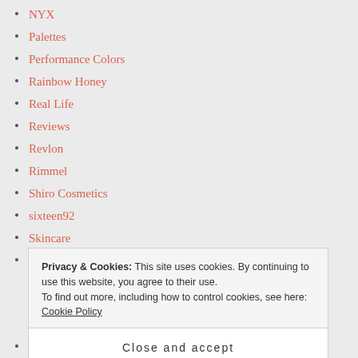NYX
Palettes
Performance Colors
Rainbow Honey
Real Life
Reviews
Revlon
Rimmel
Shiro Cosmetics
sixteen92
Skincare
Smelly Yeti
Privacy & Cookies: This site uses cookies. By continuing to use this website, you agree to their use. To find out more, including how to control cookies, see here: Cookie Policy
Close and accept
Sunset 45